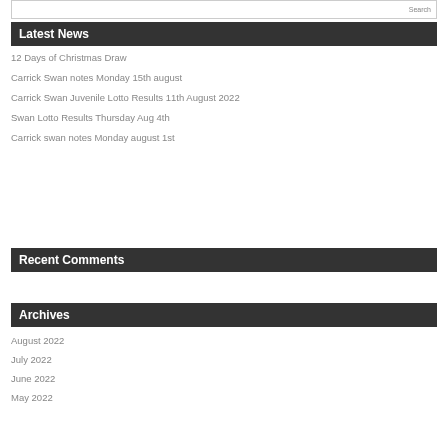Latest News
12 Days of Christmas Draw
Carrick Swan notes Monday 15th august
Carrick Swan Juvenile Lotto Results 11th August 2022
Swan Lotto Results Thursday Aug 4th
Carrick swan notes Monday august 1st
Recent Comments
Archives
August 2022
July 2022
June 2022
May 2022